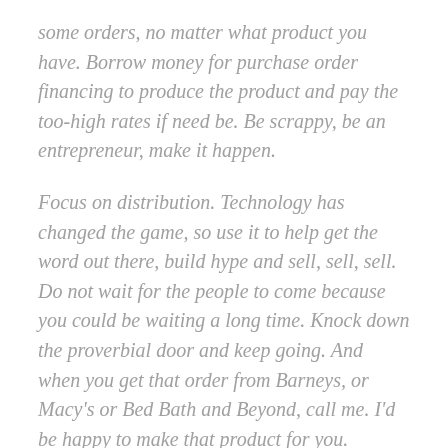some orders, no matter what product you have. Borrow money for purchase order financing to produce the product and pay the too-high rates if need be. Be scrappy, be an entrepreneur, make it happen.
Focus on distribution. Technology has changed the game, so use it to help get the word out there, build hype and sell, sell, sell. Do not wait for the people to come because you could be waiting a long time. Knock down the proverbial door and keep going. And when you get that order from Barneys, or Macy's or Bed Bath and Beyond, call me. I'd be happy to make that product for you.